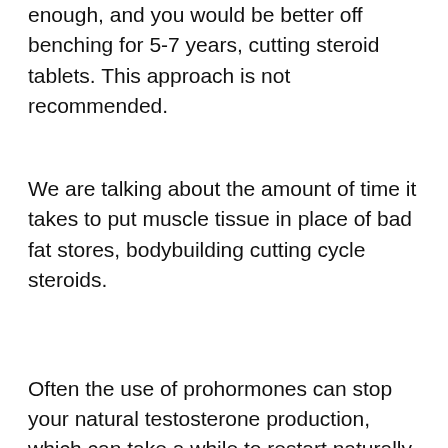enough, and you would be better off benching for 5-7 years, cutting steroid tablets. This approach is not recommended.
We are talking about the amount of time it takes to put muscle tissue in place of bad fat stores, bodybuilding cutting cycle steroids.
Often the use of prohormones can stop your natural testosterone production, which can take a while to restart naturally. But if you're lucky enough to not have trouble getting started naturally, and have a healthy diet, you can often get back on track.
I've personally been using Prohormones for years, and a lot of my clients have told me about how much they feel like they've